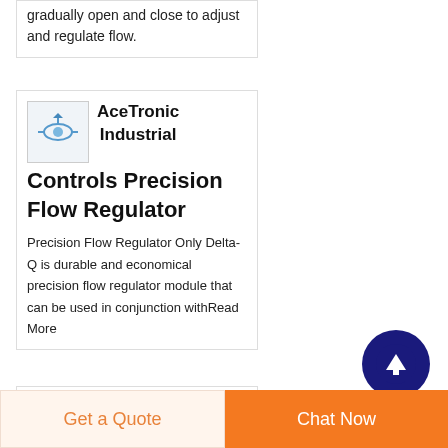gradually open and close to adjust and regulate flow.
AceTronic Industrial Controls Precision Flow Regulator
Precision Flow Regulator Only Delta-Q is durable and economical precision flow regulator module that can be used in conjunction withRead More
[Figure (photo): Small product thumbnail image for AceTronic Industrial Controls Precision Flow Regulator]
Used Flow
[Figure (photo): Small product thumbnail image with blue background for Used Flow item]
[Figure (other): Dark blue circle button with upward arrow icon for scroll-to-top navigation]
Get a Quote
Chat Now